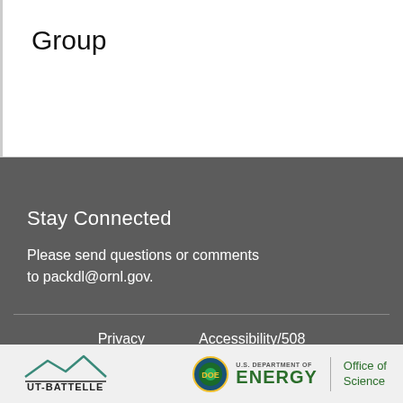Group
Stay Connected
Please send questions or comments to packdl@ornl.gov.
Privacy    Accessibility/508
Nondiscrimination/1557
[Figure (logo): UT-Battelle logo with mountain silhouette and underline]
[Figure (logo): U.S. Department of Energy Office of Science logo with circular emblem, ENERGY text in green, and Office of Science text]